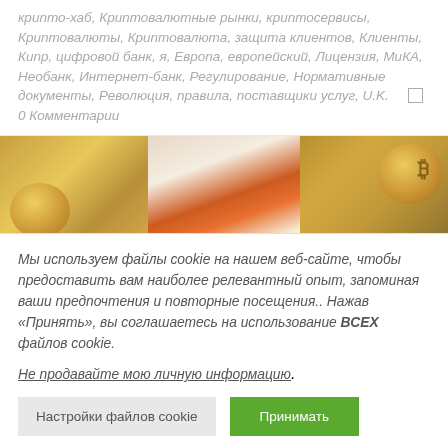крипто-хаб, Криптовалютные рынки, криптосервисы, Криптовалюты, Криптовалюта, защита клиентов, Клиенты, Кипр, цифровой банк, я, Европа, европейский, Лицензия, МиКА, Необанк, Интернет-банк, Регулирование, Нормативные документы, Революция, правила, поставщики услуг, U.K.    □ 0 Комментарии
[Figure (photo): Image of gold coins and a Cyprus map shape with orange/red coloring in the center, and a Bitcoin coin on the right side]
Мы используем файлы cookie на нашем веб-сайте, чтобы предоставить вам наиболее релевантный опыт, запоминая ваши предпочтения и повторные посещения.. Нажав «Принять», вы соглашаетесь на использование ВСЕХ файлов cookie.
Не продавайте мою личную информацию .
Настройки файлов cookie    Принимать